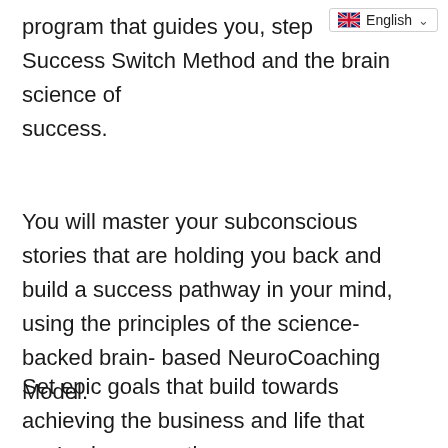program that guides you, step by step through the Success Switch Method and the brain science of success.
[Figure (screenshot): Language selector dropdown showing UK flag and 'English' label with chevron]
You will master your subconscious stories that are holding you back and build a success pathway in your mind, using the principles of the science-backed brain-based NeuroCoaching Model.
Set epic goals that build towards achieving the business and life that you’ve been wanting